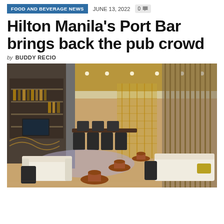FOOD AND BEVERAGE NEWS   JUNE 13, 2022   0
Hilton Manila's Port Bar brings back the pub crowd
by BUDDY RECIO
[Figure (photo): Interior of Hilton Manila's Port Bar showing a modern lounge area with cream sofas, hourglass-shaped wooden side tables, dining tables with dark chairs, a backlit bar wall with liquor bottles, gold-toned decorative metal screens and vertical rod dividers, recessed ceiling lighting, and light hardwood flooring.]